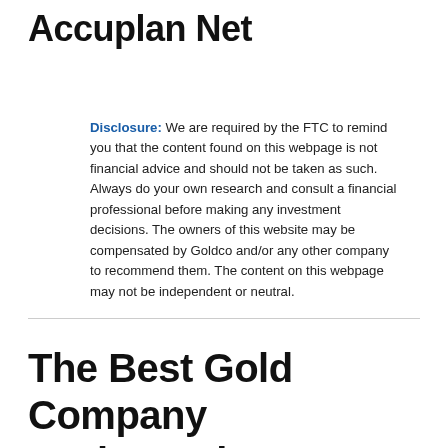Accuplan Net
Disclosure: We are required by the FTC to remind you that the content found on this webpage is not financial advice and should not be taken as such. Always do your own research and consult a financial professional before making any investment decisions. The owners of this website may be compensated by Goldco and/or any other company to recommend them. The content on this webpage may not be independent or neutral.
The Best Gold Company In The Nation